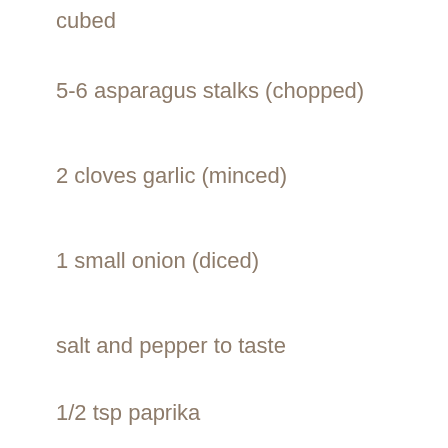cubed
5-6 asparagus stalks (chopped)
2 cloves garlic (minced)
1 small onion (diced)
salt and pepper to taste
1/2 tsp paprika